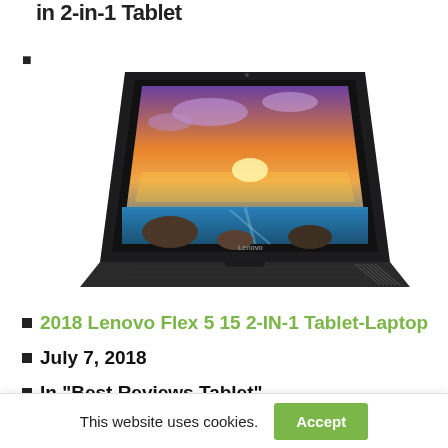in 2-in-1 Tablet
[Figure (photo): Lenovo Flex 5 15 2-in-1 laptop/tablet open showing a scenic sunset landscape on screen, viewed from the front-right angle, dark gray chassis]
2018 Lenovo Flex 5 15 2-IN-1 Tablet-Laptop
July 7, 2018
In "Best Reviews Tablet"
[Figure (photo): Partial view of another laptop/tablet device at the bottom of the page]
This website uses cookies.
Accept